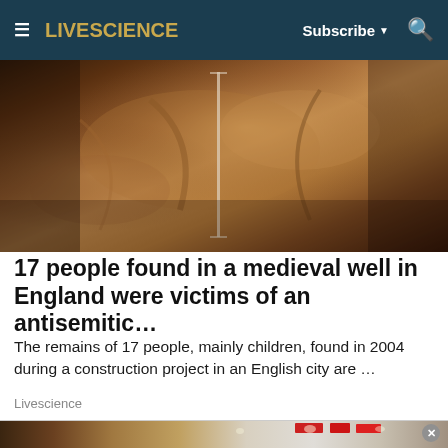LIVESCIENCE  Subscribe  🔍
[Figure (photo): Archaeological excavation photo showing what appears to be skeletal remains or stained soil in a medieval well, with a vertical measuring tool visible]
17 people found in a medieval well in England were victims of an antisemitic…
The remains of 17 people, mainly children, found in 2004 during a construction project in an English city are …
Livescience
[Figure (photo): Partial view of what appears to be a store or exhibition interior with red signage visible at the top]